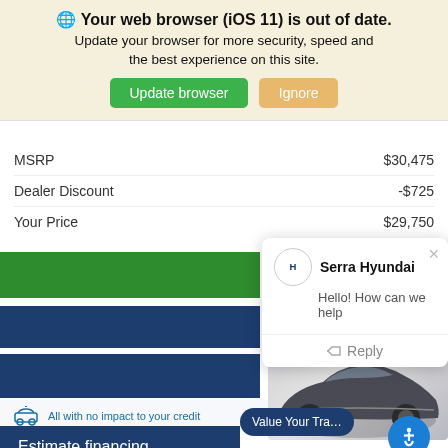🌐 Your web browser (iOS 11) is out of date. Update your browser for more security, speed and the best experience on this site.
MSRP   $30,475
Dealer Discount   -$725
Your Price   $29,750
[Figure (screenshot): Serra Hyundai chat popup with logo, 'Hello! How can we help' message and Reply button]
LIVE
[Figure (photo): Dark grey Hyundai SUV vehicle side view]
All with no impact to your credit
Value Your Tra...
Estimate financing